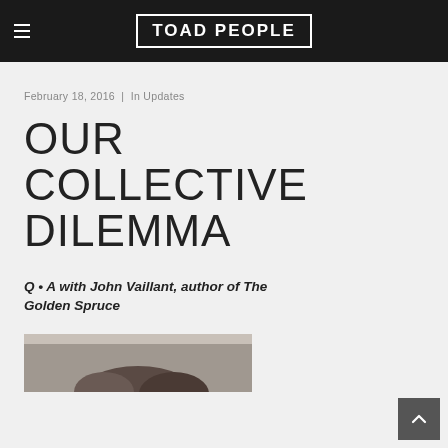TOAD PEOPLE
February 18, 2016 | In Updates
OUR COLLECTIVE DILEMMA
Q • A with John Vaillant, author of The Golden Spruce
[Figure (photo): Partial photo of a person visible at bottom of page]